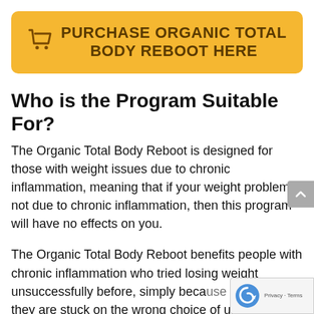[Figure (other): Yellow button with shopping cart icon reading PURCHASE ORGANIC TOTAL BODY REBOOT HERE]
Who is the Program Suitable For?
The Organic Total Body Reboot is designed for those with weight issues due to chronic inflammation, meaning that if your weight problem is not due to chronic inflammation, then this program will have no effects on you.
The Organic Total Body Reboot benefits people with chronic inflammation who tried losing weight unsuccessfully before, simply because they are stuck on the wrong choice of unhealthy